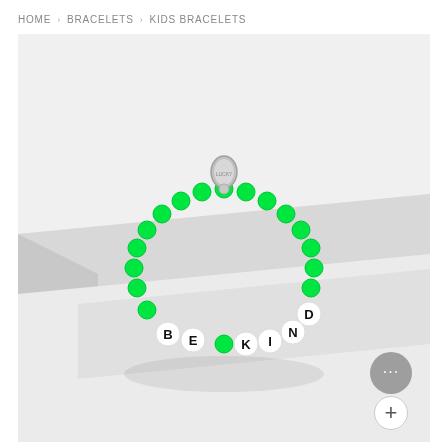HOME › BRACELETS › KIDS BRACELETS
[Figure (photo): A neon green beaded bracelet spelling 'BE KIND' in white letter beads with black text, with a small silver oval charm at the top, laid flat on a white surface with a gray geometric block in the background.]